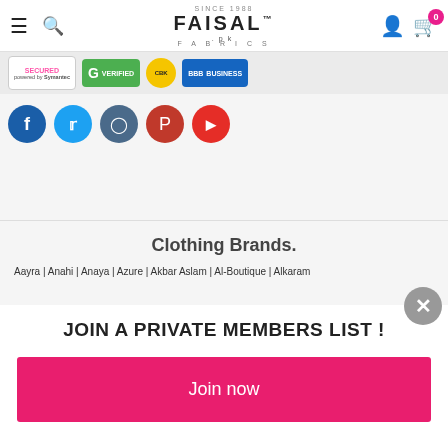Faisal Fabrics
[Figure (logo): Trust badges: Norton Secured powered by Symantec, Google Verified, ClickBank, BBB Business]
[Figure (infographic): Social media icons: Facebook, Twitter, Instagram, Pinterest, YouTube]
Clothing Brands.
Aayra | Anahi | Anaya | Azure | Akbar Aslam | Al-Boutique | Alkaram
JOIN A PRIVATE MEMBERS LIST !
Join now